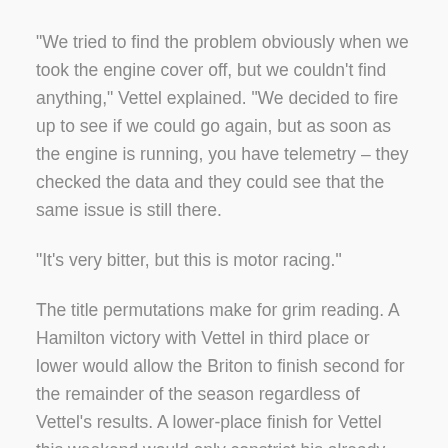"We tried to find the problem obviously when we took the engine cover off, but we couldn't find anything," Vettel explained. "We decided to fire up to see if we could go again, but as soon as the engine is running, you have telemetry – they checked the data and they could see that the same issue is still there.
"It's very bitter, but this is motor racing."
The title permutations make for grim reading. A Hamilton victory with Vettel in third place or lower would allow the Briton to finish second for the remainder of the season regardless of Vettel's results. A lower-place finish for Vettel this weekend would only constrict his already narrow path back into contention.